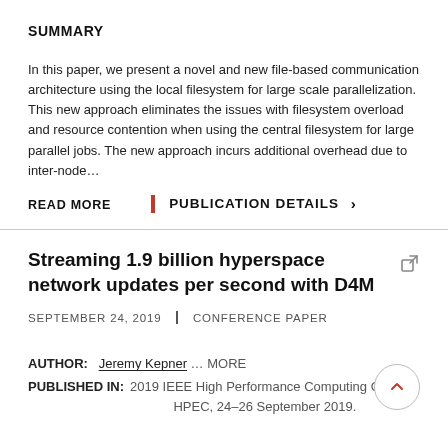SUMMARY
In this paper, we present a novel and new file-based communication architecture using the local filesystem for large scale parallelization. This new approach eliminates the issues with filesystem overload and resource contention when using the central filesystem for large parallel jobs. The new approach incurs additional overhead due to inter-node…
READ MORE
PUBLICATION DETAILS >
Streaming 1.9 billion hyperspace network updates per second with D4M
SEPTEMBER 24, 2019 | CONFERENCE PAPER
AUTHOR: Jeremy Kepner … MORE
PUBLISHED IN: 2019 IEEE High Performance Computing Conf., HPEC, 24–26 September 2019.